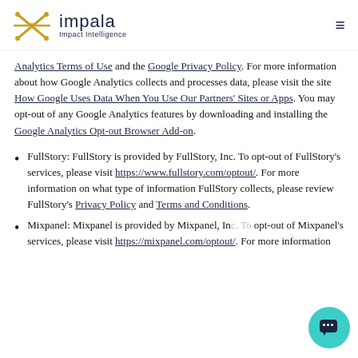impala Impact Intelligence
Analytics Terms of Use and the Google Privacy Policy. For more information about how Google Analytics collects and processes data, please visit the site How Google Uses Data When You Use Our Partners' Sites or Apps. You may opt-out of any Google Analytics features by downloading and installing the Google Analytics Opt-out Browser Add-on.
FullStory: FullStory is provided by FullStory, Inc. To opt-out of FullStory's services, please visit https://www.fullstory.com/optout/. For more information on what type of information FullStory collects, please review FullStory's Privacy Policy and Terms and Conditions.
Mixpanel: Mixpanel is provided by Mixpanel, Inc. To opt-out of Mixpanel's services, please visit https://mixpanel.com/optout/. For more information